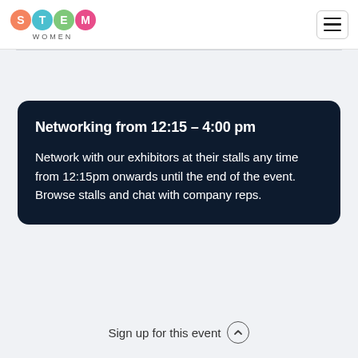[Figure (logo): STEM Women logo with coloured circles for S, T, E, M letters and 'WOMEN' text below]
Networking from 12:15 – 4:00 pm
Network with our exhibitors at their stalls any time from 12:15pm onwards until the end of the event. Browse stalls and chat with company reps.
Sign up for this event